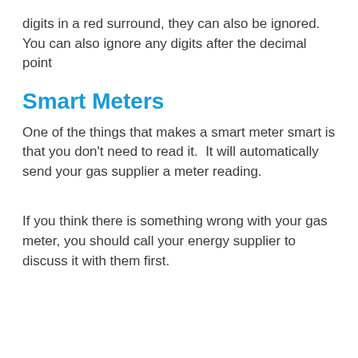digits in a red surround, they can also be ignored. You can also ignore any digits after the decimal point
Smart Meters
One of the things that makes a smart meter smart is that you don't need to read it. It will automatically send your gas supplier a meter reading.
If you think there is something wrong with your gas meter, you should call your energy supplier to discuss it with them first.